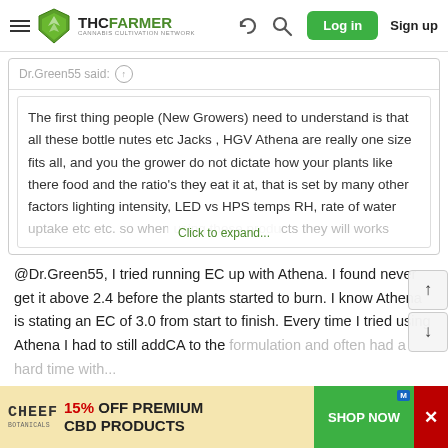THCFarmer - Cannabis Cultivation Network - Log in - Sign up
Dr.Green55 said:
The first thing people (New Growers) need to understand is that all these bottle nutes etc Jacks , HGV Athena are really one size fits all, and you the grower do not dictate how your plants like there food and the ratio's they eat it at, that is set by many other factors lighting intensity, LED vs HPS temps RH, rate of water uptake etc etc. so when using these products they will works
Click to expand...
@Dr.Green55, I tried running EC up with Athena. I found never get it above 2.4 before the plants started to burn. I know Athena is stating an EC of 3.0 from start to finish. Every time I tried using Athena I had to still addCA to the formulation and often had a hard time with...
[Figure (screenshot): Advertisement banner for CHEEF Botanicals: 15% OFF PREMIUM CBD PRODUCTS with SHOP NOW button in green]